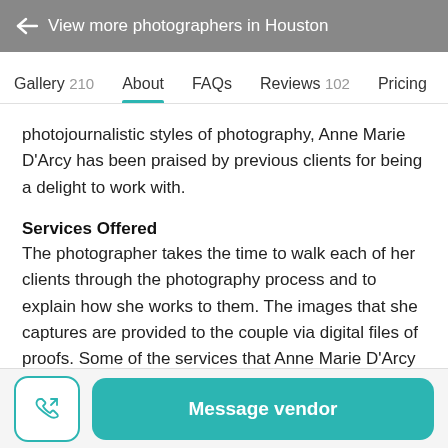← View more photographers in Houston
Gallery 210   About   FAQs   Reviews 102   Pricing   Ne…
photojournalistic styles of photography, Anne Marie D'Arcy has been praised by previous clients for being a delight to work with.
Services Offered
The photographer takes the time to walk each of her clients through the photography process and to explain how she works to them. The images that she captures are provided to the couple via digital files of proofs. Some of the services that Anne Marie D'Arcy Photography offers include:
Message vendor